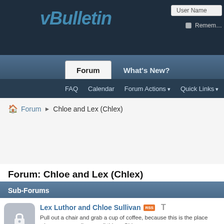vBulletin forum header with navigation tabs: Forum, What's New? and secondary nav: FAQ, Calendar, Forum Actions, Quick Links
Forum › Chloe and Lex (Chlex)
Forum: Chloe and Lex (Chlex)
Sub-Forums
Lex Luthor and Chloe Sullivan — Pull out a chair and grab a cup of coffee, because this is the place where you can discuss all things Chlex.
Chloe Sullivan/Allison Mack — Our very own intrepid reporter and a true beauty. Discuss all